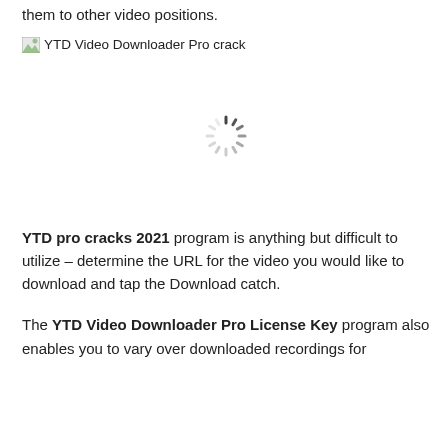them to other video positions.
[Figure (photo): Broken image placeholder labeled 'YTD Video Downloader Pro crack' with a loading spinner in the center]
YTD pro cracks 2021 program is anything but difficult to utilize – determine the URL for the video you would like to download and tap the Download catch.
The YTD Video Downloader Pro License Key program also enables you to vary over downloaded recordings for